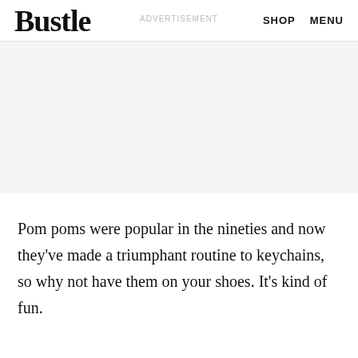Bustle  ADVERTISEMENT  SHOP  MENU
[Figure (other): Advertisement placeholder area with light gray background]
Pom poms were popular in the nineties and now they've made a triumphant routine to keychains, so why not have them on your shoes. It's kind of fun.